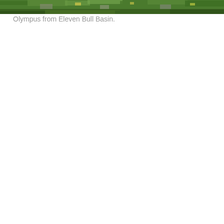[Figure (photo): Landscape photograph showing green alpine meadow vegetation with rocks, cropped to show only the bottom strip of the image. Appears to be a mountain meadow scene, likely from Eleven Bull Basin near Mount Olympus.]
Olympus from Eleven Bull Basin.